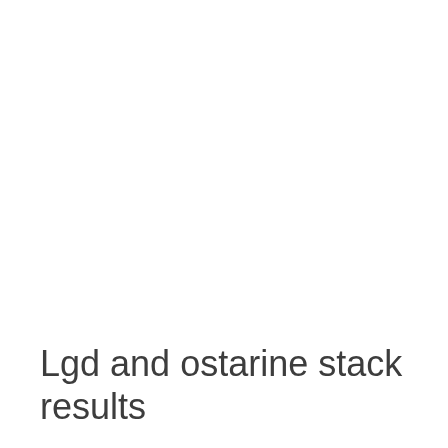Lgd and ostarine stack results